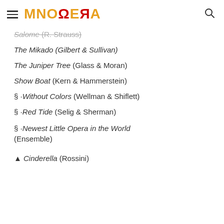MNOPERA
Salome (R. Strauss)
The Mikado (Gilbert & Sullivan)
The Juniper Tree (Glass & Moran)
Show Boat (Kern & Hammerstein)
§ ·Without Colors (Wellman & Shiflett)
§ ·Red Tide (Selig & Sherman)
§ ·Newest Little Opera in the World (Ensemble)
▲ Cinderella (Rossini)